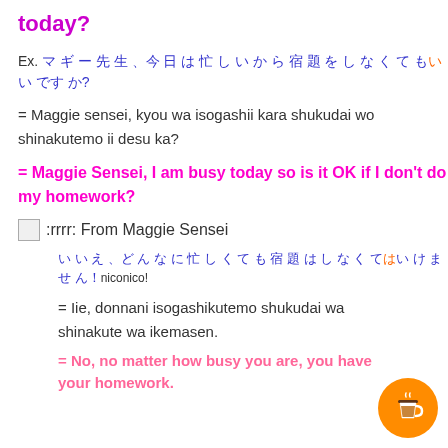today?
Ex. マギー先生、今日は忙しいから宿題をしなくてもいいですか？
= Maggie sensei, kyou wa isogashii kara shukudai wo shinakutemo ii desu ka?
= Maggie Sensei, I am busy today so is it OK if I don't do my homework?
:rrrr: From Maggie Sensei
いいえ、どんなに忙しくても宿題はしなくてはいけません！niconico!
= Iie, donnani isogashikutemo shukudai wa shinakute wa ikemasen.
= No, no matter how busy you are, you have your homework.